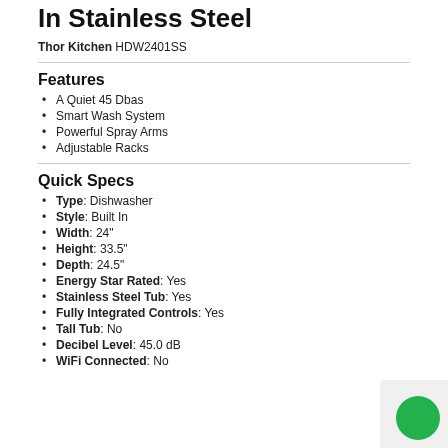In Stainless Steel
Thor Kitchen HDW2401SS
Features
A Quiet 45 Dbas
Smart Wash System
Powerful Spray Arms
Adjustable Racks
Quick Specs
Type: Dishwasher
Style: Built In
Width: 24"
Height: 33.5"
Depth: 24.5"
Energy Star Rated: Yes
Stainless Steel Tub: Yes
Fully Integrated Controls: Yes
Tall Tub: No
Decibel Level: 45.0 dB
WiFi Connected: No